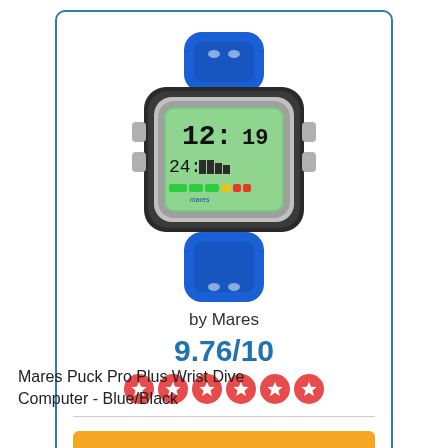[Figure (photo): Blue Mares Puck Pro Plus wrist dive computer with digital display showing dive information]
by Mares
9.76/10
[Figure (other): Five red star rating circles]
Buy Now
Mares Puck Pro Plus Wrist Dive Computer - Blue/Black